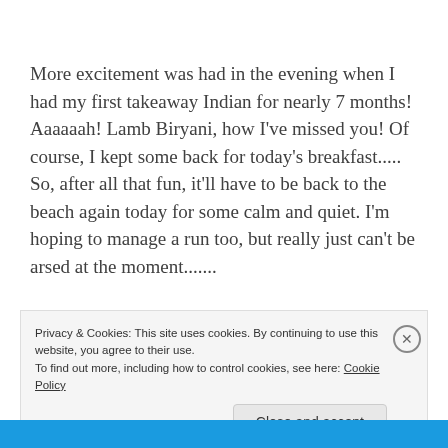More excitement was had in the evening when I had my first takeaway Indian for nearly 7 months! Aaaaaah! Lamb Biryani, how I've missed you! Of course, I kept some back for today's breakfast.....
So, after all that fun, it'll have to be back to the beach again today for some calm and quiet. I'm hoping to manage a run too, but really just can't be arsed at the moment.......
Privacy & Cookies: This site uses cookies. By continuing to use this website, you agree to their use.
To find out more, including how to control cookies, see here: Cookie Policy
Close and accept